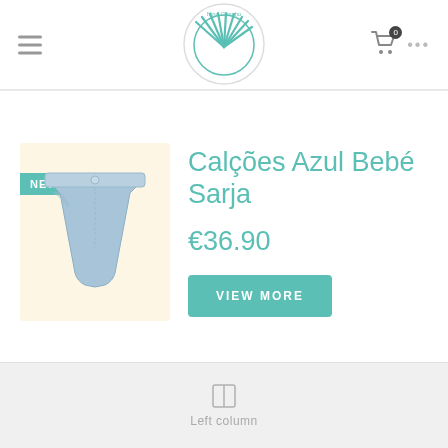[Figure (logo): Nino Concho brand logo: circular shell/fan design in teal color with brand name text, inside a circle border]
[Figure (photo): Baby blue twill shorts product photo on a cream/yellow background with NEW badge overlay]
Calções Azul Bebé Sarja
€36.90
VIEW MORE
Left column